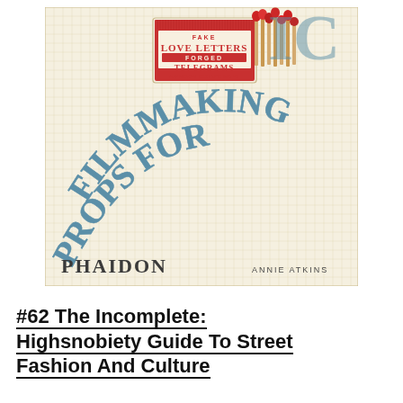[Figure (illustration): Book cover of 'Fake Love Letters, Forged Telegrams & Prison Escape Maps: Graphic Props for Filmmaking' published by Phaidon, authored by Annie Atkins. The cover has a cream graph-paper background with curved blue hand-lettered text reading 'Props for Filmmaking' and a matchbox illustration labeled 'Fake Love Letters, Forged Telegrams, Prison Escape Maps' with matches beside it.]
#62 The Incomplete: Highsnobiety Guide To Street Fashion And Culture